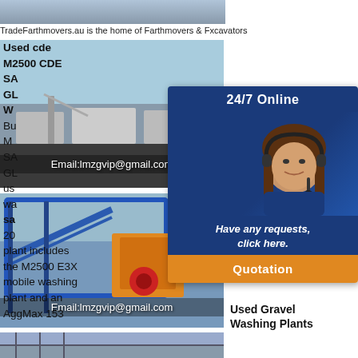[Figure (screenshot): Top strip image of earthmoving/excavating equipment site]
TradeEarthmovers.au is the home of Earthmovers & Excavators
[Figure (photo): Industrial washing/screening plant equipment at a quarry site with email overlay: Email:lmzgvip@gmail.com]
[Figure (photo): Blue frame industrial crusher/impact mill machinery with email overlay: Email:lmzgvip@gmail.com]
[Figure (photo): Partial view of industrial equipment structure]
Used cde M2500 CDE SA… GL… W… Bu… M… SA… GL… used… wa… sa… 2o… plant includes the M2500 E3X mobile washing plant and an AggMax 153
Used Gravel Washing Plants
[Figure (screenshot): 24/7 Online chat widget with headset woman photo, tagline 'Have any requests, click here.' and orange Quotation button]